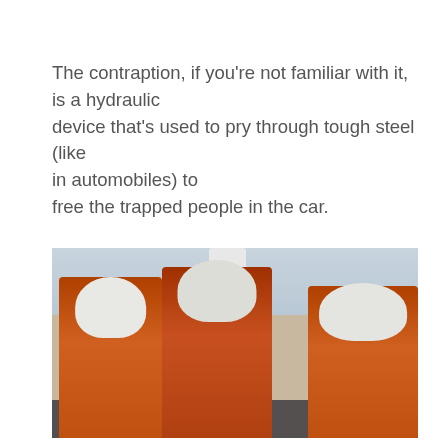The contraption, if you're not familiar with it, is a hydraulic device that's used to pry through tough steel (like in automobiles) to free the trapped people in the car.
[Figure (photo): Rescue workers in orange suits and white helmets working around a white vehicle, likely performing a vehicle extrication exercise.]